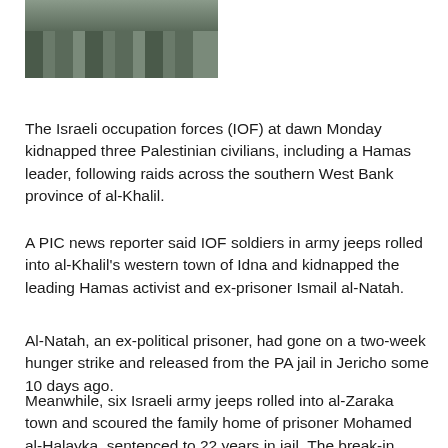[Figure (photo): Photograph showing legs/boots of soldiers or armed personnel walking, cropped at the top of the page]
The Israeli occupation forces (IOF) at dawn Monday kidnapped three Palestinian civilians, including a Hamas leader, following raids across the southern West Bank province of al-Khalil.
A PIC news reporter said IOF soldiers in army jeeps rolled into al-Khalil's western town of Idna and kidnapped the leading Hamas activist and ex-prisoner Ismail al-Natah.
Al-Natah, an ex-political prisoner, had gone on a two-week hunger strike and released from the PA jail in Jericho some 10 days ago.
Meanwhile, six Israeli army jeeps rolled into al-Zaraka town and scoured the family home of prisoner Mohamed al-Halayka, sentenced to 22 years in jail. The break-in culminated in the abduction of al-Halayka's 23-year-old son, Majd.
The heavily-armed troops showered a group of Palestinian unarmed